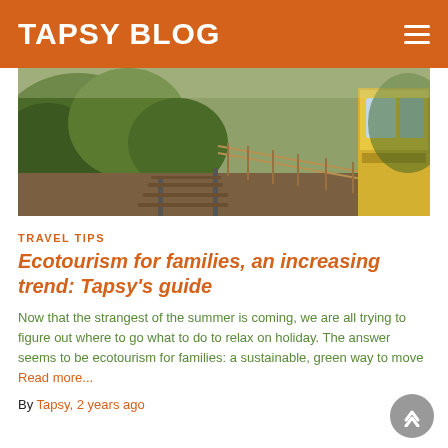TAPSY BLOG
[Figure (photo): A scenic photo of a train on curved tracks surrounded by green trees and foliage, viewed from the side of a train car.]
TRAVEL TIPS
Ecotourism for families, an increasing trend: Tapsy's guide
Now that the strangest of the summer is coming, we are all trying to figure out where to go what to do to relax on holiday. The answer seems to be ecotourism for families: a sustainable, green way to move Read more...
By Tapsy, 2 years ago